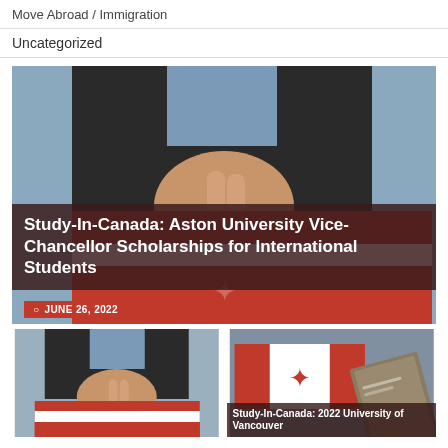Move Abroad / Immigration
Uncategorized
[Figure (photo): Person in dark suit holding a red envelope with Canadian maple leaf design; large article card with overlay title and date badge]
Study-In-Canada: Aston University Vice-Chancellor Scholarships for International Students
JUNE 26, 2022
[Figure (photo): Bottom left thumbnail: person holding Canadian envelope]
[Figure (photo): Bottom right thumbnail: Canadian flag and passport with overlay title Study-In-Canada: 2022 University of Vancouver]
Study-In-Canada: 2022 University of Vancouver